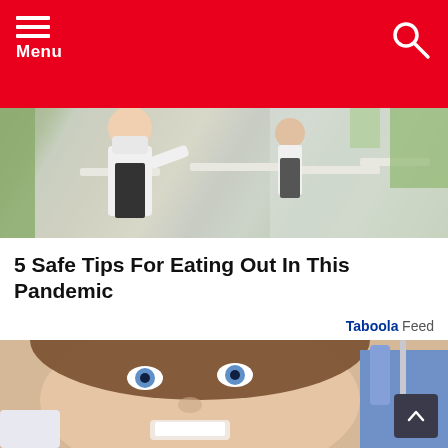Menu
[Figure (photo): Restaurant interior with staff wearing face masks, cleaning tables. A woman in a white shirt and black apron is wiping a glass partition in the foreground.]
5 Safe Tips For Eating Out In This Pandemic
Taboola Feed
[Figure (photo): Close-up of a smiling woman with blue eyes and brown hair at a dental appointment, with a gloved hand holding a dental instrument visible on the right.]